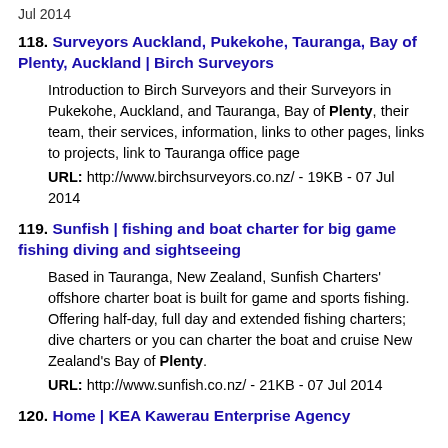Jul 2014
118. Surveyors Auckland, Pukekohe, Tauranga, Bay of Plenty, Auckland | Birch Surveyors
Introduction to Birch Surveyors and their Surveyors in Pukekohe, Auckland, and Tauranga, Bay of Plenty, their team, their services, information, links to other pages, links to projects, link to Tauranga office page
URL: http://www.birchsurveyors.co.nz/ - 19KB - 07 Jul 2014
119. Sunfish | fishing and boat charter for big game fishing diving and sightseeing
Based in Tauranga, New Zealand, Sunfish Charters' offshore charter boat is built for game and sports fishing. Offering half-day, full day and extended fishing charters; dive charters or you can charter the boat and cruise New Zealand's Bay of Plenty.
URL: http://www.sunfish.co.nz/ - 21KB - 07 Jul 2014
120. Home | KEA Kawerau Enterprise Agency